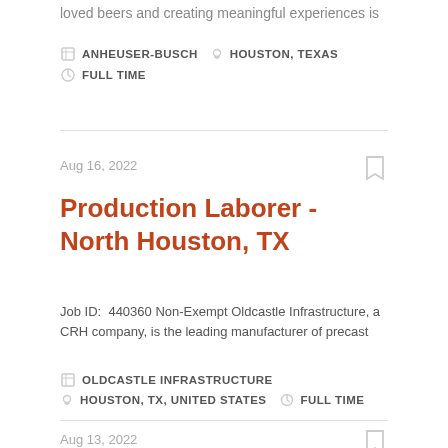loved beers and creating meaningful experiences is
ANHEUSER-BUSCH  HOUSTON, TEXAS  FULL TIME
Aug 16, 2022
Production Laborer - North Houston, TX
Job ID:  440360 Non-Exempt Oldcastle Infrastructure, a CRH company, is the leading manufacturer of precast
OLDCASTLE INFRASTRUCTURE  HOUSTON, TX, UNITED STATES  FULL TIME
Aug 13, 2022